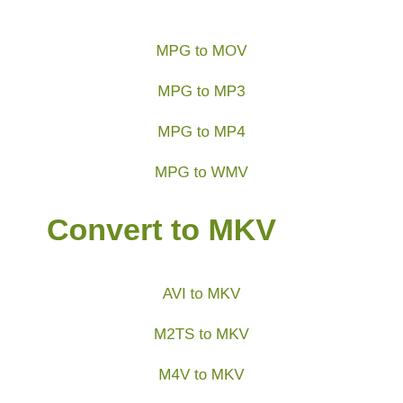MPG to MOV
MPG to MP3
MPG to MP4
MPG to WMV
Convert to MKV
AVI to MKV
M2TS to MKV
M4V to MKV
MP4 to MKV